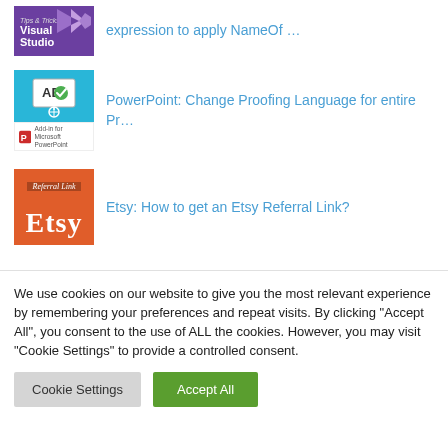[Figure (screenshot): Visual Studio Tips & Tricks thumbnail — purple background with white bold text 'Visual Studio']
expression to apply NameOf …
[Figure (screenshot): PowerPoint Change Language thumbnail — blue background with presentation icon, below: Add-in for Microsoft PowerPoint badge]
PowerPoint: Change Proofing Language for entire Pr…
[Figure (screenshot): Etsy Referral Link thumbnail — orange background with 'Etsy' in large white serif font and 'Referral Link' script banner]
Etsy: How to get an Etsy Referral Link?
We use cookies on our website to give you the most relevant experience by remembering your preferences and repeat visits. By clicking "Accept All", you consent to the use of ALL the cookies. However, you may visit "Cookie Settings" to provide a controlled consent.